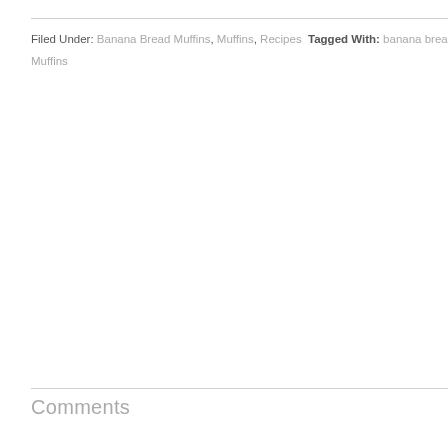Filed Under: Banana Bread Muffins, Muffins, Recipes  Tagged With: banana bread, bre... Muffins
Comments